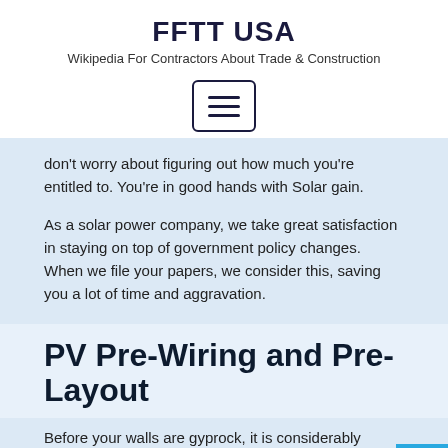FFTT USA
Wikipedia For Contractors About Trade & Construction
[Figure (other): Hamburger menu button with three horizontal lines, bordered rectangle]
don't worry about figuring out how much you're entitled to. You're in good hands with Solar gain.
As a solar power company, we take great satisfaction in staying on top of government policy changes. When we file your papers, we consider this, saving you a lot of time and aggravation.
PV Pre-Wiring and Pre-Layout
Before your walls are gyprock, it is considerably easier to electrical wire. Pre-wiring your solar power system during the